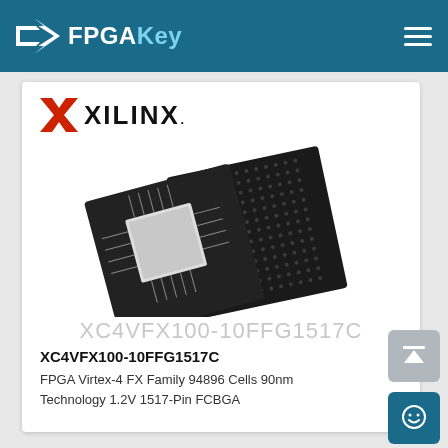FPGAKey
[Figure (logo): Xilinx logo with red X symbol and XILINX. text in black]
[Figure (photo): Two Xilinx FPGA chips (BGA packages) photographed on white background, showing ball grid array underside and chip surface]
XC4VFX100-10FFG1517C
XC4VFX100-10FFG1517C
FPGA Virtex-4 FX Family 94896 Cells 90nm Technology 1.2V 1517-Pin FCBGA